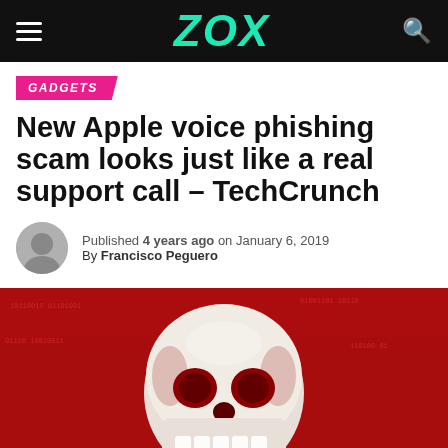ZOX
GADGETS
New Apple voice phishing scam looks just like a real support call – TechCrunch
Published 4 years ago on January 6, 2019
By Francisco Peguero
[Figure (illustration): Dark red background with binary code texture, featuring a white skull illustration in the center.]